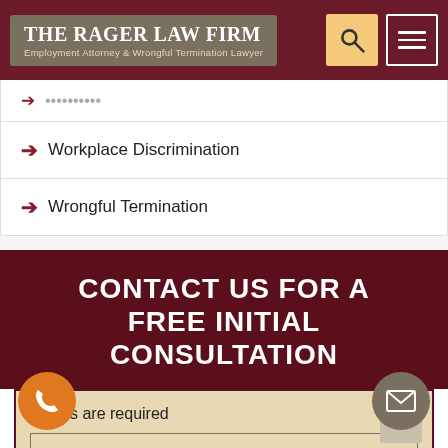THE RAGER LAW FIRM — Employment Attorney & Wrongful Termination Lawyer
Workplace Discrimination
Wrongful Termination
CONTACT US FOR A FREE INITIAL CONSULTATION
* fields are required
Name*